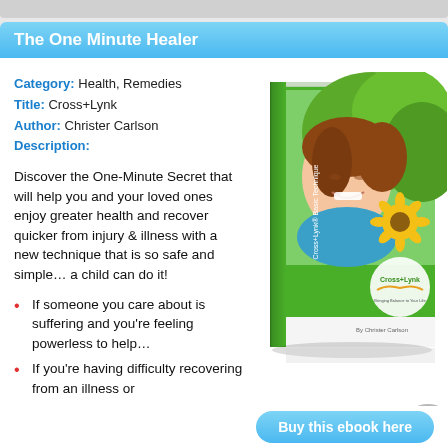The One Minute Healer
Category: Health, Remedies
Title: Cross+Lynk
Author: Christer Carlson
Description:
Discover the One-Minute Secret that will help you and your loved ones enjoy greater health and recover quicker from injury & illness with a new technique that is so safe and simple… a child can do it!
If someone you care about is suffering and you're feeling powerless to help…
If you're having difficulty recovering from an illness or
[Figure (photo): Book cover of Cross+Lynk Basic Technique by Christer Carlson, showing a smiling woman smelling a sunflower with green nature background]
Buy this ebook here